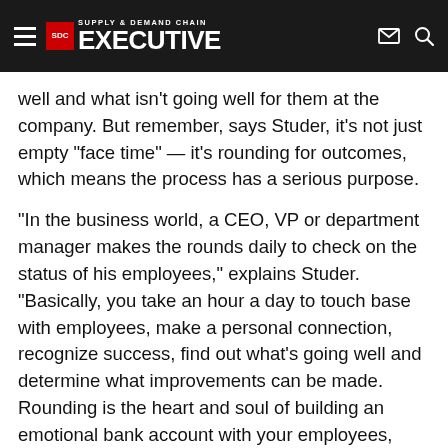Supply & Demand Chain Executive
well and what isn't going well for them at the company. But remember, says Studer, it's not just empty "face time" — it's rounding for outcomes, which means the process has a serious purpose.
"In the business world, a CEO, VP or department manager makes the rounds daily to check on the status of his employees," explains Studer. "Basically, you take an hour a day to touch base with employees, make a personal connection, recognize success, find out what's going well and determine what improvements can be made. Rounding is the heart and soul of building an emotional bank account with your employees, because it shows them day in and day out that you care."